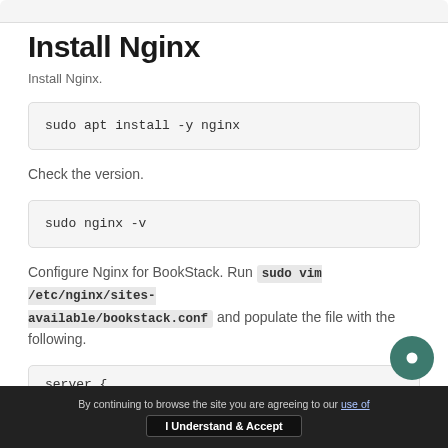Install Nginx
Install Nginx.
sudo apt install -y nginx
Check the version.
sudo nginx -v
Configure Nginx for BookStack. Run sudo vim /etc/nginx/sites-available/bookstack.conf and populate the file with the following.
server {
By continuing to browse the site you are agreeing to our use of    I Understand & Accept